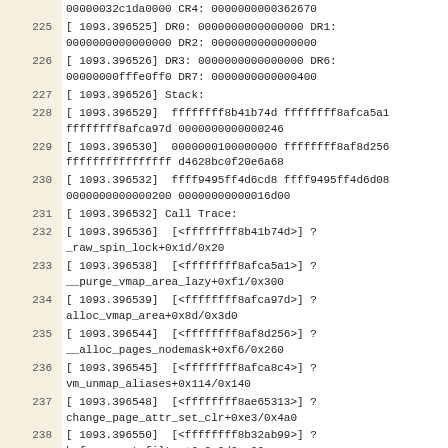00000032c1da0000 CR4: 0000000000362670
225  [ 1093.396525] DR0: 0000000000000000 DR1:
0000000000000000 DR2: 0000000000000000
226  [ 1093.396526] DR3: 0000000000000000 DR6:
00000000fffe0ff0 DR7: 0000000000000400
227  [ 1093.396526] Stack:
228  [ 1093.396529]  ffffffff8b41b74d ffffffff8afca5a1
ffffffff8afca97d 0000000000000246
229  [ 1093.396530]  0000000100000000 ffffffff8af8d256
ffffffffffffffff d4628bc0f20e6a68
230  [ 1093.396532]  ffff9495ff4d6cd8 ffff9495ff4d6d08
0000000000000200 00000000000016d00
231  [ 1093.396532] Call Trace:
232  [ 1093.396536]  [<ffffffff8b41b74d>] ?
_raw_spin_lock+0x1d/0x20
233  [ 1093.396538]  [<ffffffff8afca5a1>] ?
__purge_vmap_area_lazy+0xf1/0x300
234  [ 1093.396539]  [<ffffffff8afca97d>] ?
alloc_vmap_area+0x8d/0x3d0
235  [ 1093.396544]  [<ffffffff8af8d256>] ?
__alloc_pages_nodemask+0xf6/0x260
236  [ 1093.396545]  [<ffffffff8afca8c4>] ?
vm_unmap_aliases+0x114/0x140
237  [ 1093.396548]  [<ffffffff8ae65313>] ?
change_page_attr_set_clr+0xe3/0x4a0
238  [ 1093.396550]  [<ffffffff8b32ab99>] ?
bpf_convert_filter+0x9a9/0xa00